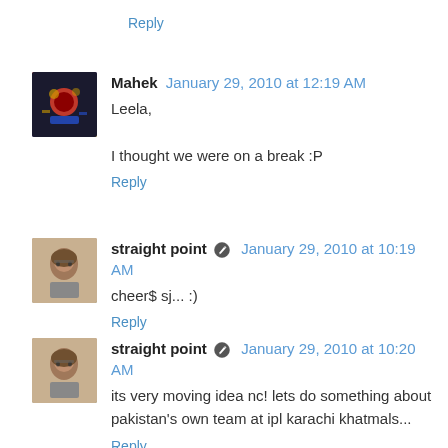Reply
Mahek  January 29, 2010 at 12:19 AM
Leela,

I thought we were on a break :P
Reply
straight point  January 29, 2010 at 10:19 AM
cheer$ sj... :)
Reply
straight point  January 29, 2010 at 10:20 AM
its very moving idea nc! lets do something about pakistan's own team at ipl karachi khatmals...
Reply